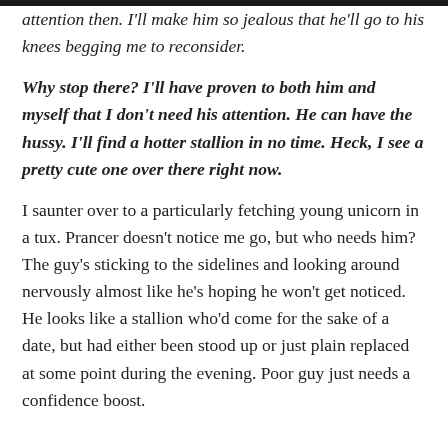attention then. I'll make him so jealous that he'll go to his knees begging me to reconsider.
Why stop there? I'll have proven to both him and myself that I don't need his attention. He can have the hussy. I'll find a hotter stallion in no time. Heck, I see a pretty cute one over there right now.
I saunter over to a particularly fetching young unicorn in a tux. Prancer doesn't notice me go, but who needs him? The guy's sticking to the sidelines and looking around nervously almost like he's hoping he won't get noticed. He looks like a stallion who'd come for the sake of a date, but had either been stood up or just plain replaced at some point during the evening. Poor guy just needs a confidence boost.